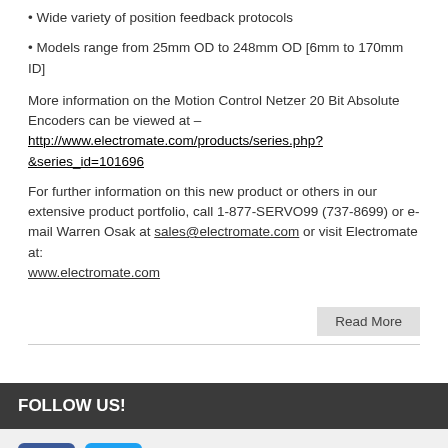• Wide variety of position feedback protocols
• Models range from 25mm OD to 248mm OD [6mm to 170mm ID]
More information on the Motion Control Netzer 20 Bit Absolute Encoders can be viewed at – http://www.electromate.com/products/series.php?&series_id=101696
For further information on this new product or others in our extensive product portfolio, call 1-877-SERVO99 (737-8699) or e-mail Warren Osak at sales@electromate.com or visit Electromate at: www.electromate.com
FOLLOW US!
[Figure (logo): Facebook and Twitter social media icons]
CATEGORIES